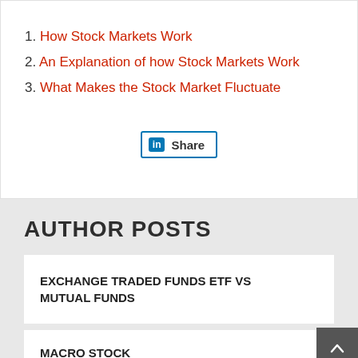1. How Stock Markets Work
2. An Explanation of how Stock Markets Work
3. What Makes the Stock Market Fluctuate
[Figure (other): LinkedIn Share button]
AUTHOR POSTS
EXCHANGE TRADED FUNDS ETF VS MUTUAL FUNDS
MACRO STOCK